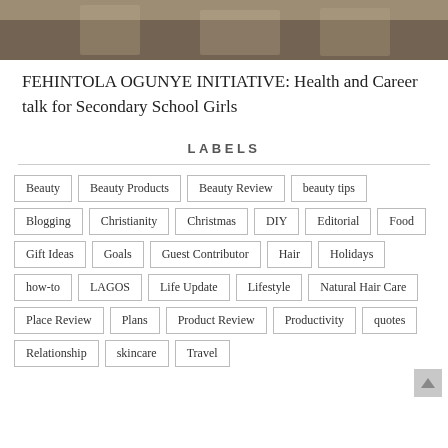[Figure (photo): Students in green and white school uniforms gathered together, cropped at top of page]
FEHINTOLA OGUNYE INITIATIVE: Health and Career talk for Secondary School Girls
LABELS
Beauty
Beauty Products
Beauty Review
beauty tips
Blogging
Christianity
Christmas
DIY
Editorial
Food
Gift Ideas
Goals
Guest Contributor
Hair
Holidays
how-to
LAGOS
Life Update
Lifestyle
Natural Hair Care
Place Review
Plans
Product Review
Productivity
quotes
Relationship
skincare
Travel